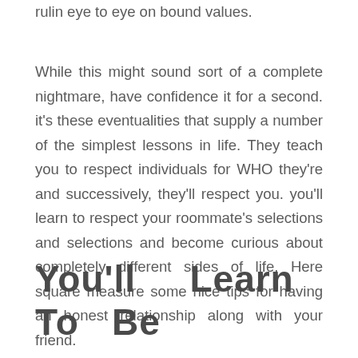rulin eye to eye on bound values.
While this might sound sort of a complete nightmare, have confidence it for a second. it's these eventualities that supply a number of the simplest lessons in life. They teach you to respect individuals for WHO they're and successively, they'll respect you. you'll learn to respect your roommate's selections and selections and become curious about completely different sides of life. Here square measure some nice tips for having an honest relationship along with your friend.
You'll Learn To Be